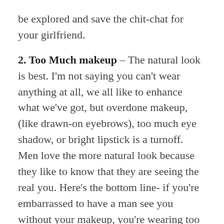be explored and save the chit-chat for your girlfriend.
2. Too Much makeup – The natural look is best. I'm not saying you can't wear anything at all, we all like to enhance what we've got, but overdone makeup, (like drawn-on eyebrows), too much eye shadow, or bright lipstick is a turnoff. Men love the more natural look because they like to know that they are seeing the real you. Here's the bottom line- if you're embarrassed to have a man see you without your makeup, you're wearing too much!